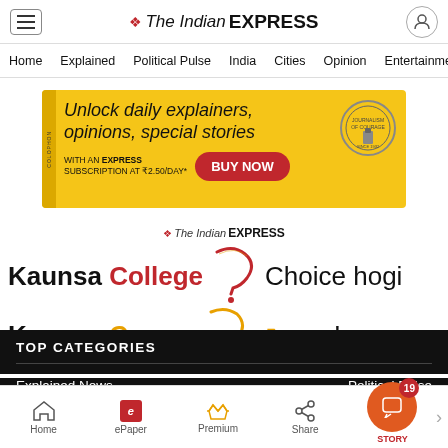The Indian EXPRESS — Home | Explained | Political Pulse | India | Cities | Opinion | Entertainment
[Figure (infographic): Yellow advertisement banner: 'Unlock daily explainers, opinions, special stories. With an Express Subscription at ₹2.50/day* BUY NOW' for The Indian Express]
[Figure (infographic): The Indian Express college promotion: 'Kaunsa College? Kaunsa Course? Choice hogi easy!']
TOP CATEGORIES
Explained News | Political Pulse
Home | ePaper | Premium | Share | STORY (19)